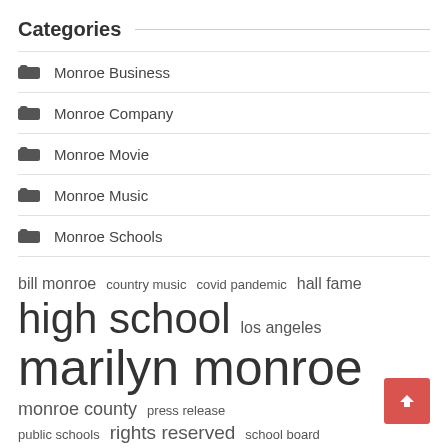Categories
Monroe Business
Monroe Company
Monroe Movie
Monroe Music
Monroe Schools
bill monroe  country music  covid pandemic  hall fame  high school  los angeles  marilyn monroe  monroe county  press release  public schools  rights reserved  school board  school district  united states  vice president